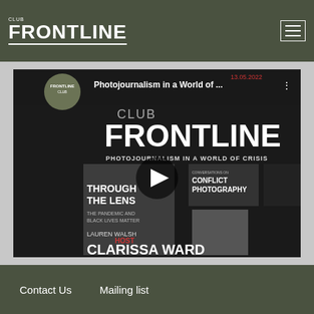CLUB FRONTLINE
[Figure (screenshot): YouTube video thumbnail for 'Photojournalism in a World of Crisis' event by Frontline Club, dated 13.05.2022. Shows book covers and host Clarissa Ward. Topics include FRONTLINE PHOTOJOURNALISM IN A WORLD OF CRISIS, Conversations on Conflict Photography by Lauren Walsh, Through the Lens: The Pandemic and Black Lives Matter. Host: Clarissa Ward.]
Contact Us   Mailing list